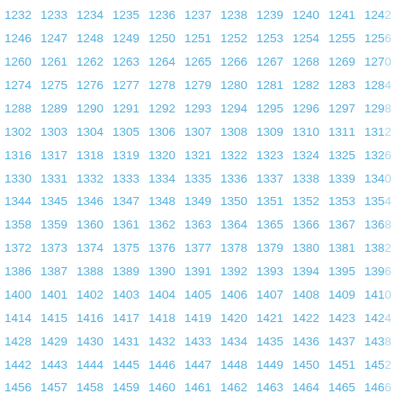1232 1233 1234 1235 1236 1237 1238 1239 1240 1241 124...
Grid of consecutive numbers from 1232 to approximately 1467, arranged in rows of 11 columns, displayed in blue/cyan color.